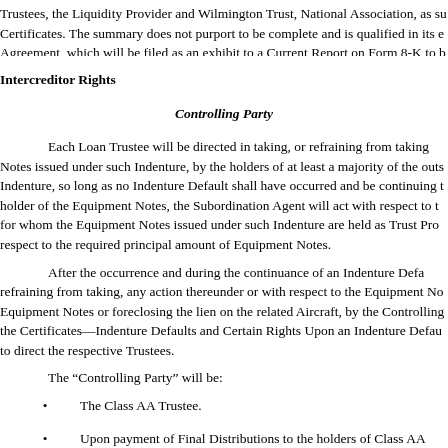Trustees, the Liquidity Provider and Wilmington Trust, National Association, as su Certificates. The summary does not purport to be complete and is qualified in its e Agreement, which will be filed as an exhibit to a Current Report on Form 8-K to b
Intercreditor Rights
Controlling Party
Each Loan Trustee will be directed in taking, or refraining from taking Notes issued under such Indenture, by the holders of at least a majority of the outs Indenture, so long as no Indenture Default shall have occurred and be continuing t holder of the Equipment Notes, the Subordination Agent will act with respect to t for whom the Equipment Notes issued under such Indenture are held as Trust Pro respect to the required principal amount of Equipment Notes.
After the occurrence and during the continuance of an Indenture Defa refraining from taking, any action thereunder or with respect to the Equipment No Equipment Notes or foreclosing the lien on the related Aircraft, by the Controlling the Certificates—Indenture Defaults and Certain Rights Upon an Indenture Defau to direct the respective Trustees.
The “Controlling Party” will be:
The Class AA Trustee.
Upon payment of Final Distributions to the holders of Class AA
Upon payment of Final Distributions to the holders of Class A